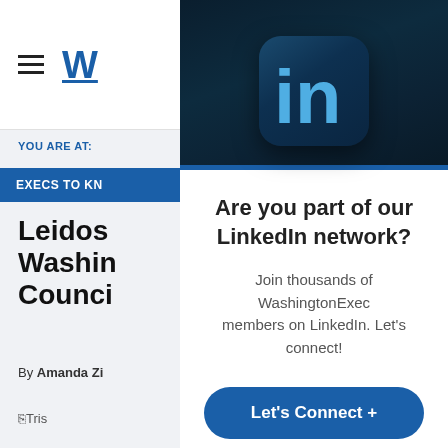W
YOU ARE AT:
EXECS TO KN
Leidos Washin Counci
By Amanda Zi
[Figure (logo): LinkedIn logo icon - blue 'in' letters on dark navy rounded square background]
Are you part of our LinkedIn network?
Join thousands of WashingtonExec members on LinkedIn. Let's connect!
Let's Connect +
No thanks